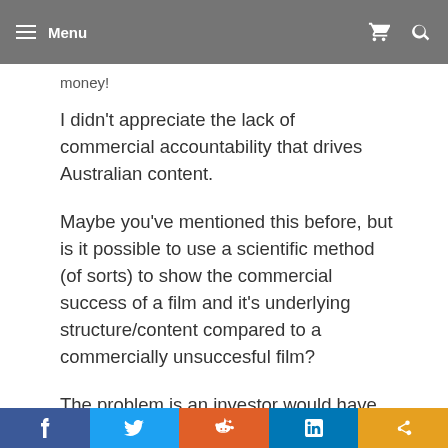Menu
money!
I didn't appreciate the lack of commercial accountability that drives Australian content.
Maybe you've mentioned this before, but is it possible to use a scientific method (of sorts) to show the commercial success of a film and it's underlying structure/content compared to a commercially unsuccesful film?
The problem is an investor would have to
f  Twitter  Reddit  in  Share